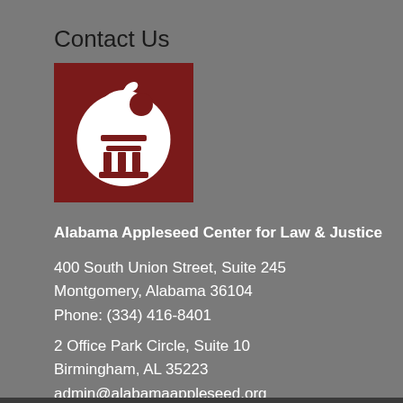Contact Us
[Figure (logo): Alabama Appleseed Center for Law & Justice logo — dark red square with white apple and column icon]
Alabama Appleseed Center for Law & Justice
400 South Union Street, Suite 245
Montgomery, Alabama 36104
Phone: (334) 416-8401
2 Office Park Circle, Suite 10
Birmingham, AL 35223
admin@alabamaappleseed.org